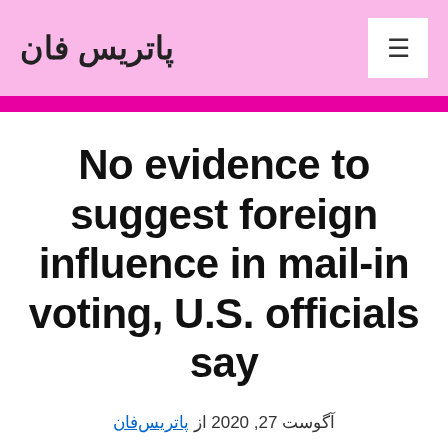پاتریس فان
No evidence to suggest foreign influence in mail-in voting, U.S. officials say
آگوست 27, 2020 از پاتریس‌فان